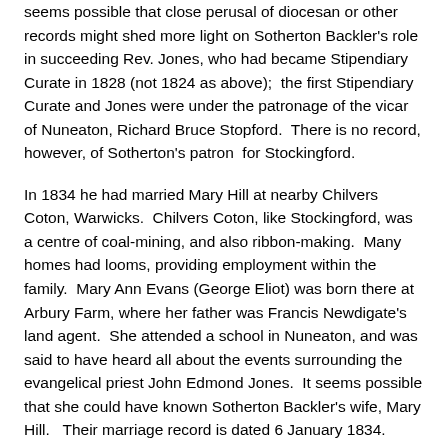seems possible that close perusal of diocesan or other records might shed more light on Sotherton Backler's role in succeeding Rev. Jones, who had became Stipendiary Curate in 1828 (not 1824 as above);  the first Stipendiary Curate and Jones were under the patronage of the vicar of Nuneaton, Richard Bruce Stopford.  There is no record, however, of Sotherton's patron  for Stockingford.
In 1834 he had married Mary Hill at nearby Chilvers Coton, Warwicks.  Chilvers Coton, like Stockingford, was a centre of coal-mining, and also ribbon-making.  Many homes had looms, providing employment within the family.  Mary Ann Evans (George Eliot) was born there at Arbury Farm, where her father was Francis Newdigate's land agent.  She attended a school in Nuneaton, and was said to have heard all about the events surrounding the evangelical priest John Edmond Jones.  It seems possible that she could have known Sotherton Backler's wife, Mary Hill.   Their marriage record is dated 6 January 1834.  Sotherton was a Clerk, of the parish of Nuneaton, Bachelor; Mary, a spinster, of this parish – Chilvers Coton.  Witnesses were W F Gramshaw (a surgeon from nearby Hinckley in Leicestershire), and Caroline Hill.